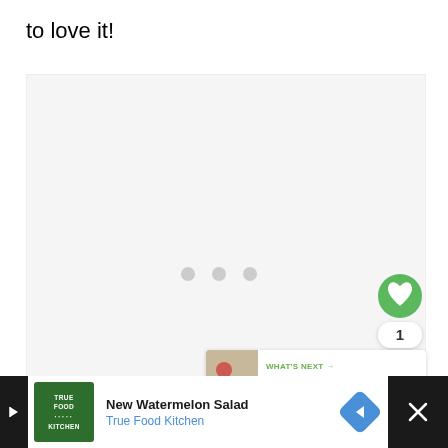to love it!
[Figure (screenshot): A large light gray loading/placeholder content box with three gray loading dots centered inside. On the right edge: a green circular heart/favorite button, a white badge showing '1', and a white circular share button with a share icon.]
[Figure (screenshot): What's Next panel showing a small food thumbnail image on the left and text 'WHAT'S NEXT → Crock Pot Peach Cobbler' on the right.]
[Figure (screenshot): Advertisement bar at bottom: True Food Kitchen logo on left, 'New Watermelon Salad / True Food Kitchen' text in center, blue navigation arrow icon, and X close button on dark background.]